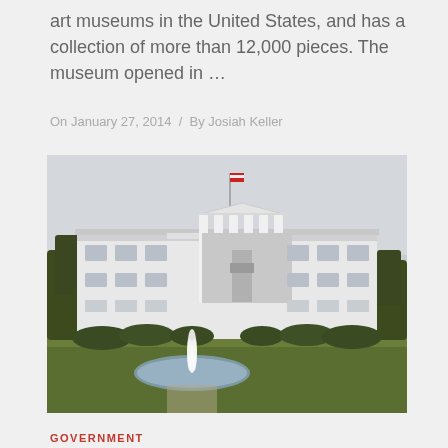art museums in the United States, and has a collection of more than 12,000 pieces. The museum opened in …
On January 27, 2014 / By Josiah Keller
[Figure (photo): Photograph of the White House north facade with fountain and lawn in the foreground, overcast sky]
GOVERNMENT